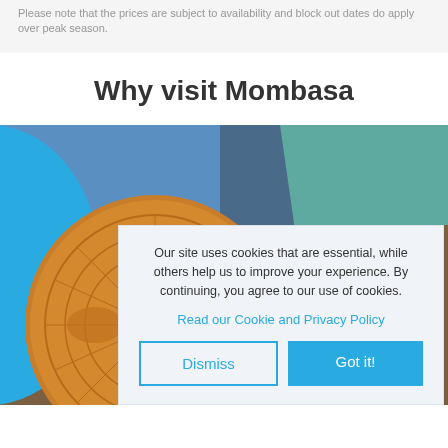Please note that the prices are subject to availability and block out dates do apply over peak season.
Why visit Mombasa
[Figure (photo): Close-up photo of a decorative carved wooden craft item (circular pattern), with blue and teal/dark wooden panels in the background — reminiscent of Mombasa/African craft market items.]
Our site uses cookies that are essential, while others help us to improve your experience. By continuing, you agree to our use of cookies.
Read our Cookie and Privacy Policy
Dismiss
Got it!